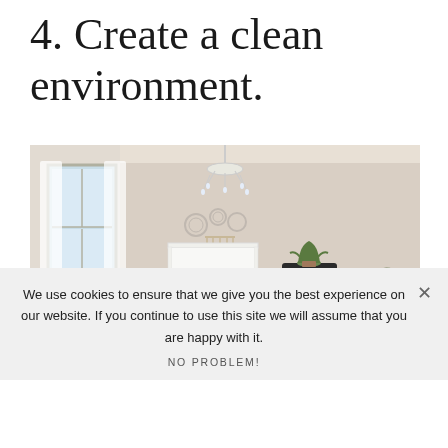4. Create a clean environment.
[Figure (photo): A bright, clean nursery room with beige walls, white sheer curtains on a window, a white baby crib in the center, a crystal chandelier hanging from the ceiling, decorative plates and a macrame wall hanging, a small black cast-iron wood stove with a potted plant on top, a large green leafy plant, and a light wood dresser or surface on the right.]
We use cookies to ensure that we give you the best experience on our website. If you continue to use this site we will assume that you are happy with it.
NO PROBLEM!